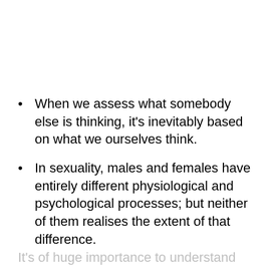When we assess what somebody else is thinking, it's inevitably based on what we ourselves think.
In sexuality, males and females have entirely different physiological and psychological processes; but neither of them realises the extent of that difference.
It's of huge importance to understand